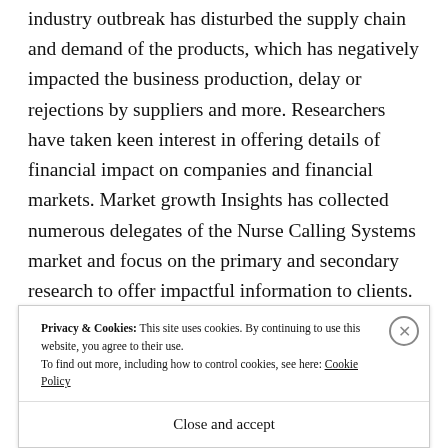industry outbreak has disturbed the supply chain and demand of the products, which has negatively impacted the business production, delay or rejections by suppliers and more. Researchers have taken keen interest in offering details of financial impact on companies and financial markets. Market growth Insights has collected numerous delegates of the Nurse Calling Systems market and focus on the primary and secondary research to offer impactful information to clients.
Privacy & Cookies: This site uses cookies. By continuing to use this website, you agree to their use. To find out more, including how to control cookies, see here: Cookie Policy
Close and accept